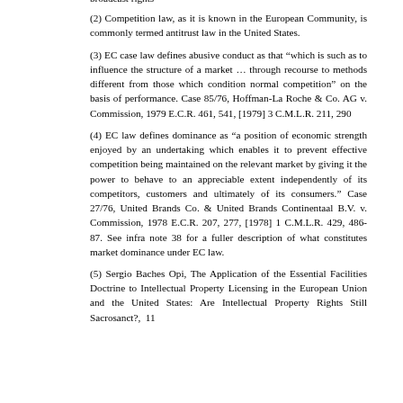broadcast rights
(2) Competition law, as it is known in the European Community, is commonly termed antitrust law in the United States.
(3) EC case law defines abusive conduct as that “which is such as to influence the structure of a market … through recourse to methods different from those which condition normal competition” on the basis of performance. Case 85/76, Hoffman-La Roche & Co. AG v. Commission, 1979 E.C.R. 461, 541, [1979] 3 C.M.L.R. 211, 290
(4) EC law defines dominance as “a position of economic strength enjoyed by an undertaking which enables it to prevent effective competition being maintained on the relevant market by giving it the power to behave to an appreciable extent independently of its competitors, customers and ultimately of its consumers.” Case 27/76, United Brands Co. & United Brands Continentaal B.V. v. Commission, 1978 E.C.R. 207, 277, [1978] 1 C.M.L.R. 429, 486-87. See infra note 38 for a fuller description of what constitutes market dominance under EC law.
(5) Sergio Baches Opi, The Application of the Essential Facilities Doctrine to Intellectual Property Licensing in the European Union and the United States: Are Intellectual Property Rights Still Sacrosanct?, 11